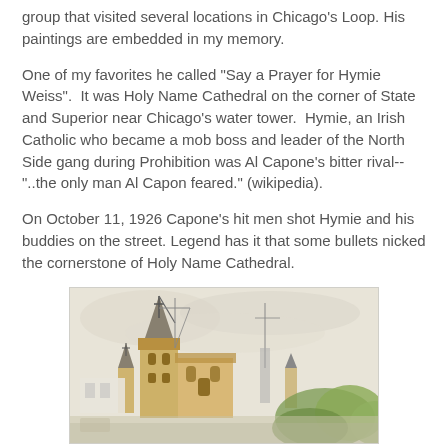group that visited several locations in Chicago's Loop. His paintings are embedded in my memory.
One of my favorites he called "Say a Prayer for Hymie Weiss".  It was Holy Name Cathedral on the corner of State and Superior near Chicago's water tower.  Hymie, an Irish Catholic who became a mob boss and leader of the North Side gang during Prohibition was Al Capone's bitter rival--"..the only man Al Capon feared." (wikipedia).
On October 11, 1926 Capone's hit men shot Hymie and his buddies on the street. Legend has it that some bullets nicked the cornerstone of Holy Name Cathedral.
[Figure (illustration): Watercolor illustration of Holy Name Cathedral in Chicago, showing the Gothic-style church tower and facade with cross on top, construction cranes visible, and green foliage in the foreground right.]